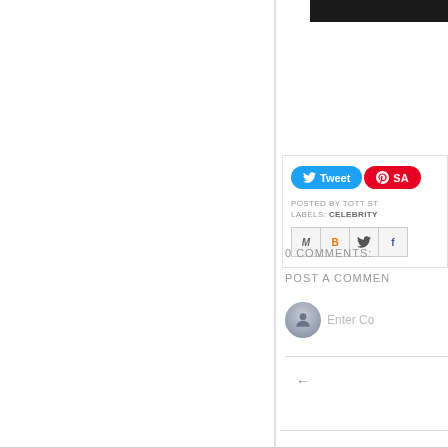[Figure (screenshot): Black header bar cropped at top right]
[Figure (screenshot): Share buttons: Tweet (blue) and SA/Save (red Pinterest) buttons]
POSTED BY TOTT ST
LABELS: CELEBRITY
[Figure (screenshot): Social sharing icons: Gmail (M), Blogger (B), Twitter bird, Facebook (f)]
0 COMMENTS:
POST A COMMENT
[Figure (screenshot): User avatar circle with person silhouette and Enter Comment placeholder input]
Enter Co
←